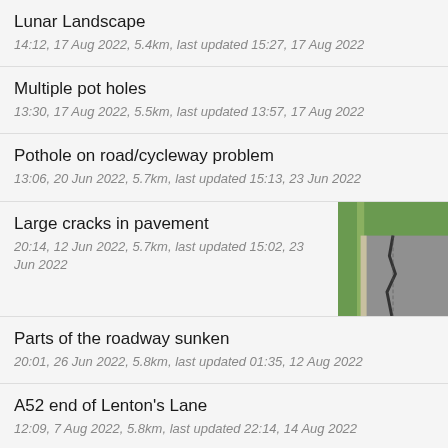Lunar Landscape
14:12, 17 Aug 2022, 5.4km, last updated 15:27, 17 Aug 2022
Multiple pot holes
13:30, 17 Aug 2022, 5.5km, last updated 13:57, 17 Aug 2022
Pothole on road/cycleway problem
13:06, 20 Jun 2022, 5.7km, last updated 15:13, 23 Jun 2022
Large cracks in pavement
20:14, 12 Jun 2022, 5.7km, last updated 15:02, 23 Jun 2022
[Figure (photo): Photo of cracked pavement with green grass edge]
Parts of the roadway sunken
20:01, 26 Jun 2022, 5.8km, last updated 01:35, 12 Aug 2022
A52 end of Lenton's Lane
12:09, 7 Aug 2022, 5.8km, last updated 22:14, 14 Aug 2022